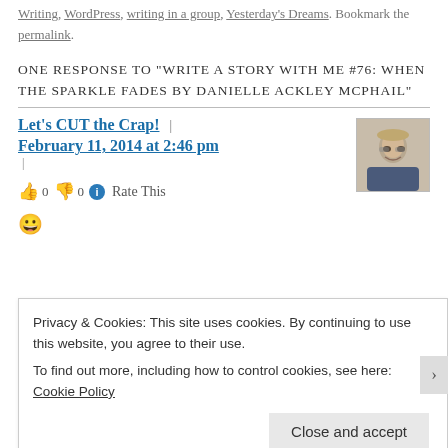Writing, WordPress, writing in a group, Yesterday's Dreams. Bookmark the permalink.
ONE RESPONSE TO “WRITE A STORY WITH ME #76: WHEN THE SPARKLE FADES BY DANIELLE ACKLEY MCPHAIL”
Let’s CUT the Crap! | February 11, 2014 at 2:46 pm |
👍 0 👎 0 ℹ️ Rate This
😀
Privacy & Cookies: This site uses cookies. By continuing to use this website, you agree to their use.
To find out more, including how to control cookies, see here: Cookie Policy
Close and accept